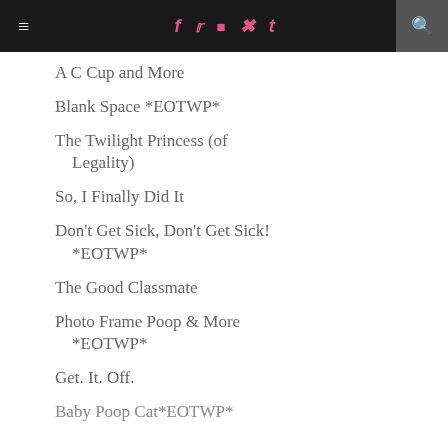≡  f  t  ⊠  ℗  t  🔍
A C Cup and More
Blank Space *EOTWP*
The Twilight Princess (of Legality)
So, I Finally Did It
Don't Get Sick, Don't Get Sick! *EOTWP*
The Good Classmate
Photo Frame Poop & More *EOTWP*
Get. It. Off.
Baby Poop Cat*EOTWP*